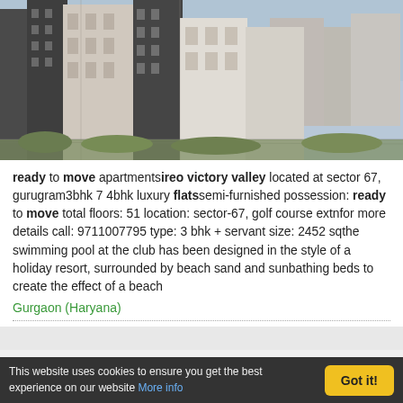[Figure (photo): Photograph of multi-story residential apartment buildings under construction or recently built, with grey and beige facades, taken outdoors with trees and blue sky visible.]
ready to move apartmentsireo victory valley located at sector 67, gurugram3bhk 7 4bhk luxury flatssemi-furnished possession: ready to move total floors: 51 location: sector-67, golf course extnfor more details call: 9711007795 type: 3 bhk + servant size: 2452 sqthe swimming pool at the club has been designed in the style of a holiday resort, surrounded by beach sand and sunbathing beds to create the effect of a beach
Gurgaon (Haryana)
This website uses cookies to ensure you get the best experience on our website More info
Got it!